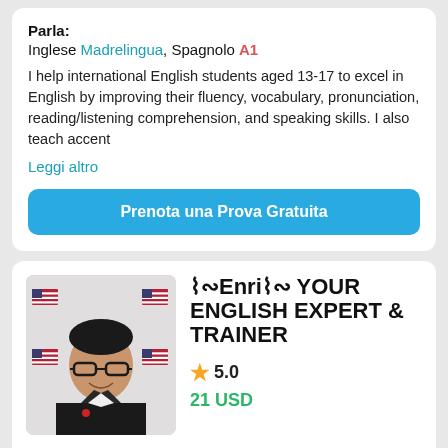Parla:
Inglese Madrelingua, Spagnolo A1
I help international English students aged 13-17 to excel in English by improving their fluency, vocabulary, pronunciation, reading/listening comprehension, and speaking skills. I also teach accent
Leggi altro
Prenota una Prova Gratuita
[Figure (photo): Profile photo of Enri, a man in black suit with red tie and glasses, with US flag emojis in background]
〜∾Enri〜∾ YOUR ENGLISH EXPERT & TRAINER
5.0
21 USD